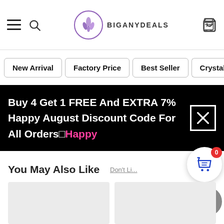[Figure (screenshot): Website header with hamburger menu, search icon, BIGANYDEALS logo, and cart icon]
New Arrival | Factory Price | Best Seller | Crystal
Buy 4 Get 1 FREE And EXTRA 7% Happy August Discount Code For All Orders□Happy
You May Also Like
Don't Li... 0
[Figure (other): Two light gray product image placeholder cards]